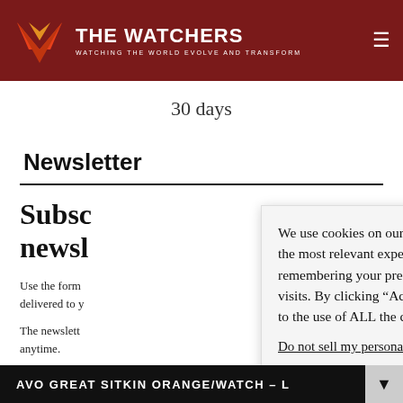THE WATCHERS — WATCHING THE WORLD EVOLVE AND TRANSFORM
30 days
Newsletter
Subscribe to our newsletter
Use the form below to have our newsletter delivered to your email.
The newsletter subscription can be cancelled anytime.
We use cookies on our website to give you the most relevant experience by remembering your preferences and repeat visits. By clicking “Accept”, you consent to the use of ALL the cookies.
Do not sell my personal information.
AVO GREAT SITKIN ORANGE/WATCH - L